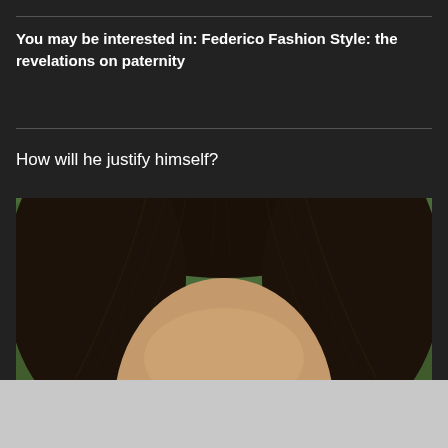You may be interested in: Federico Fashion Style: the revelations on paternity
How will he justify himself?
[Figure (photo): Close-up photo of a woman with long dark hair, brown eyes, and light brown skin, photographed from the forehead down to just below the eyes, with a blurred green background.]